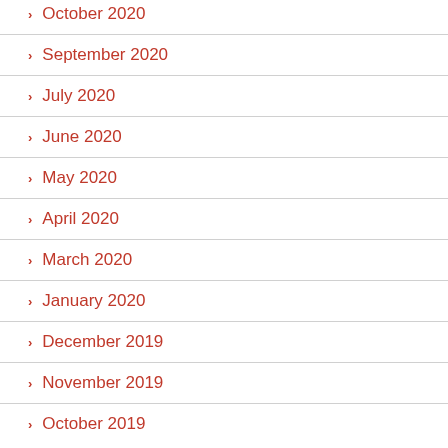October 2020
September 2020
July 2020
June 2020
May 2020
April 2020
March 2020
January 2020
December 2019
November 2019
October 2019